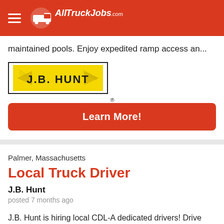AllTruckJobs.com
maintained pools. Enjoy expedited ramp access an...
[Figure (logo): J.B. Hunt logo — yellow rectangle with black border and J.B. HUNT text]
Learn More!
Palmer, Massachusetts
Local Truck Driver
J.B. Hunt
posted 7 months ago
J.B. Hunt is hiring local CDL-A dedicated drivers! Drive dedicated with J.B. Hunt and enjoy a consistent schedule and pay, onsite management and regular deliveries to a single customer. * A... earnest to about $105,000+ Home daily with...